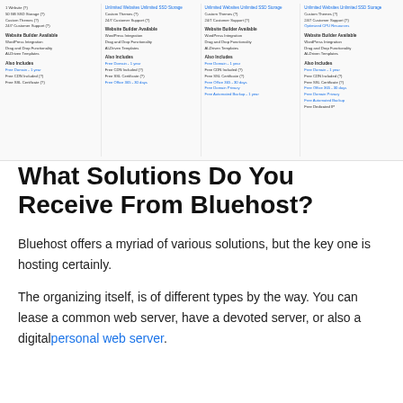[Figure (screenshot): Screenshot of a Bluehost pricing comparison table showing 4 hosting plan columns with features like Websites, SSD Storage, Custom Themes, 24/7 Customer Support, Website Builder (WordPress Integration, Drag and Drop Functionality, AI-Driven Templates), and Also Includes sections (Free Domain, Free CDN, Free SSL Certificate, Free Office 365, Free Domain Privacy, Free Automated Backups, Free Dedicated IP) with blue linked items.]
What Solutions Do You Receive From Bluehost?
Bluehost offers a myriad of various solutions, but the key one is hosting certainly.
The organizing itself, is of different types by the way. You can lease a common web server, have a devoted server, or also a digitalpersonal web server.